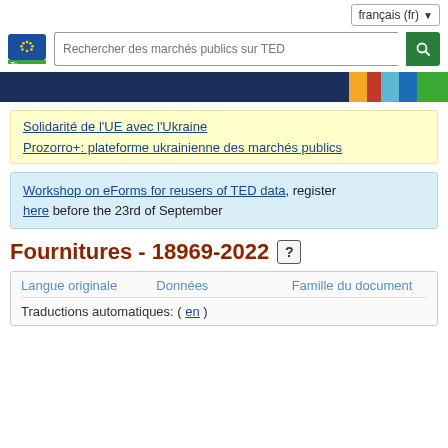français (fr)
[Figure (logo): EU TED logo with search bar: Rechercher des marchés publics sur TED]
[Figure (infographic): Navigation color strip bar with dark blue and colored blocks]
Solidarité de l'UE avec l'Ukraine
Prozorro+: plateforme ukrainienne des marchés publics
Workshop on eForms for reusers of TED data, register here before the 23rd of September
Fournitures - 18969-2022
| Langue originale | Données | Famille du document |
| --- | --- | --- |
| Traductions automatiques: ( en ) |  |  |